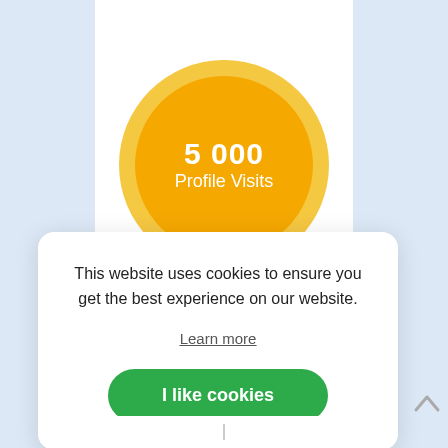[Figure (infographic): Gold/orange circular badge with outer lighter ring showing '5 000 Profile Visits' in white text on orange background]
This website uses cookies to ensure you get the best experience on our website.
Learn more
I like cookies